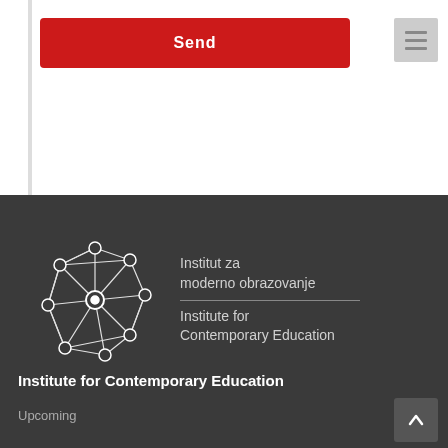Send
[Figure (logo): Institute for Contemporary Education logo — a network graph of connected nodes rendered in white on dark background, with text: Institut za moderno obrazovanje / Institute for Contemporary Education]
Institute for Contemporary Education
Upcoming